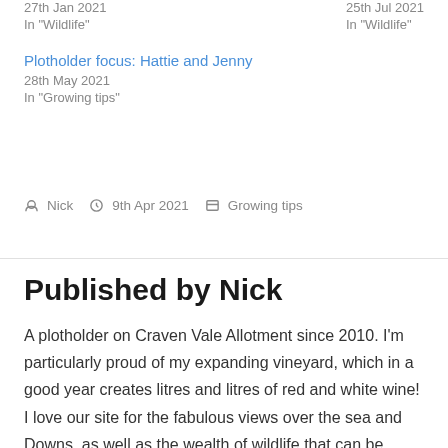27th Jan 2021
25th Jul 2021
In "Wildlife"
In "Wildlife"
Plotholder focus: Hattie and Jenny
28th May 2021
In "Growing tips"
Post Nick  9th Apr 2021  Growing tips
Published by Nick
A plotholder on Craven Vale Allotment since 2010. I'm particularly proud of my expanding vineyard, which in a good year creates litres and litres of red and white wine! I love our site for the fabulous views over the sea and Downs, as well as the wealth of wildlife that can be